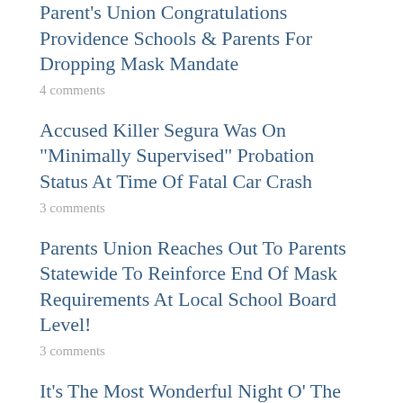Parent's Union Congratulations Providence Schools & Parents For Dropping Mask Mandate
4 comments
Accused Killer Segura Was On "Minimally Supervised" Probation Status At Time Of Fatal Car Crash
3 comments
Parents Union Reaches Out To Parents Statewide To Reinforce End Of Mask Requirements At Local School Board Level!
3 comments
It's The Most Wonderful Night O' The Year! It's Gun Night At Halitosis Hall
3 comments
TAGS
2A  ACI  ACLU  Attorney General  Biden  Calenda